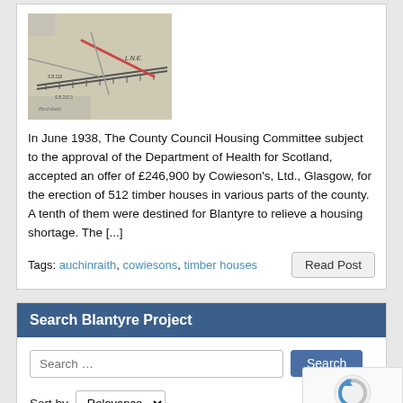[Figure (map): Historical ordnance survey map showing railway lines and Auchinraith area with L.N.E. markings]
In June 1938, The County Council Housing Committee subject to the approval of the Department of Health for Scotland, accepted an offer of £246,900 by Cowieson's, Ltd., Glasgow, for the erection of 512 timber houses in various parts of the county. A tenth of them were destined for Blantyre to relieve a housing shortage. The [...]
Tags: auchinraith, cowiesons, timber houses
Search Blantyre Project